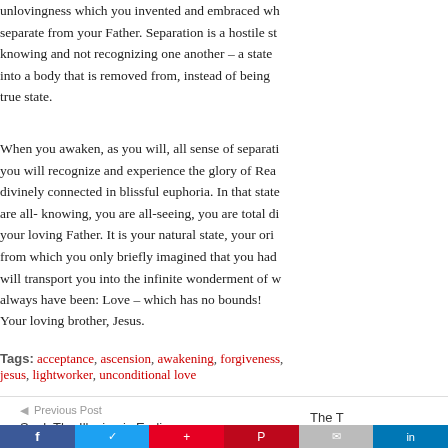unlovingness which you invented and embraced wh... separate from your Father. Separation is a hostile sta... knowing and not recognizing one another – a state o... into a body that is removed from, instead of being c... true state.
When you awaken, as you will, all sense of separati... you will recognize and experience the glory of Rea... divinely connected in blissful euphoria. In that state... are all- knowing, you are all-seeing, you are total di... your loving Father. It is your natural state, your ori... from which you only briefly imagined that you had... will transport you into the infinite wonderment of w... always have been: Love – which has no bounds!
Your loving brother, Jesus.
Tags: acceptance, ascension, awakening, forgiveness, jesus, lightworker, unconditional love
Previous Post
Saul: The Illusion is Ending
The T